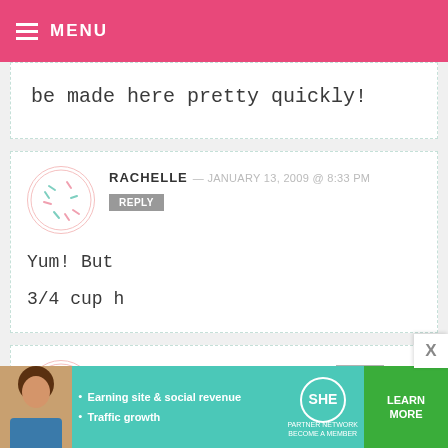MENU
be made here pretty quickly!
RACHELLE — JANUARY 13, 2009 @ 8:33 PM
REPLY
Yum! But
3/4 cup h
ERIN — JANUARY 13, 2009 @ 9:15 PM
REPLY
YUM! I am going to have to try these! I
[Figure (infographic): SHE Partner Network advertisement banner with photo, bullet points about Earning site & social revenue and Traffic growth, SHE logo, and LEARN MORE button]